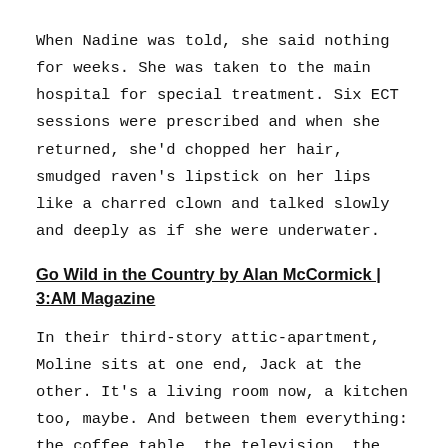When Nadine was told, she said nothing for weeks. She was taken to the main hospital for special treatment. Six ECT sessions were prescribed and when she returned, she'd chopped her hair, smudged raven's lipstick on her lips like a charred clown and talked slowly and deeply as if she were underwater.
Go Wild in the Country by Alan McCormick | 3:AM Magazine
In their third-story attic-apartment, Moline sits at one end, Jack at the other. It's a living room now, a kitchen too, maybe. And between them everything: the coffee table, the television, the book shelf twice filled, the floor lamp she dragged home from a yard sale.